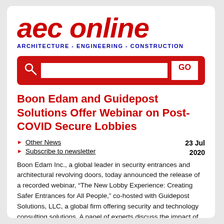[Figure (logo): AEC Online logo — 'aec online' in large red bold italic text, with 'ARCHITECTURE - ENGINEERING - CONSTRUCTION' in blue below]
[Figure (other): Red search bar with search icon, text input field, and GO button]
Boon Edam and Guidepost Solutions Offer Webinar on Post-COVID Secure Lobbies
Other News
Subscribe to newsletter
23 Jul 2020
Boon Edam Inc., a global leader in security entrances and architectural revolving doors, today announced the release of a recorded webinar, “The New Lobby Experience: Creating Safer Entrances for All People,” co-hosted with Guidepost Solutions, LLC, a global firm offering security and technology consulting solutions. A panel of experts discuss the impact of COVID-19 and pandemics, for the near and long term, on lobby design, the challenges of maintaining security amid new requirements for social distancing and creating a touchless experience inside